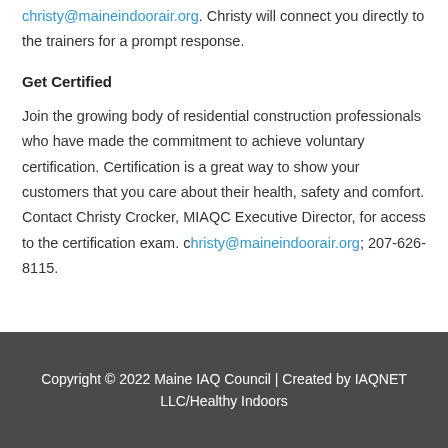christy@maineindoorair.org. Christy will connect you directly to the trainers for a prompt response.
Get Certified
Join the growing body of residential construction professionals who have made the commitment to achieve voluntary certification. Certification is a great way to show your customers that you care about their health, safety and comfort. Contact Christy Crocker, MIAQC Executive Director, for access to the certification exam. christy@maineindoorair.org; 207-626-8115.
Copyright © 2022 Maine IAQ Council | Created by IAQNET LLC/Healthy Indoors